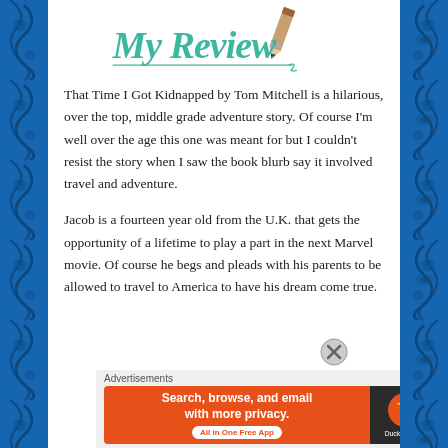[Figure (illustration): My Review script text in teal/green handwriting style font with a pencil illustration to the right, and a horizontal line beneath]
That Time I Got Kidnapped by Tom Mitchell is a hilarious, over the top, middle grade adventure story. Of course I'm well over the age this one was meant for but I couldn't resist the story when I saw the book blurb say it involved travel and adventure.
Jacob is a fourteen year old from the U.K. that gets the opportunity of a lifetime to play a part in the next Marvel movie. Of course he begs and pleads with his parents to be allowed to travel to America to have his dream come true.
Advertisements
[Figure (screenshot): DuckDuckGo advertisement banner: orange section with 'Search, browse, and email with more privacy. All in One Free App' and dark section with DuckDuckGo logo]